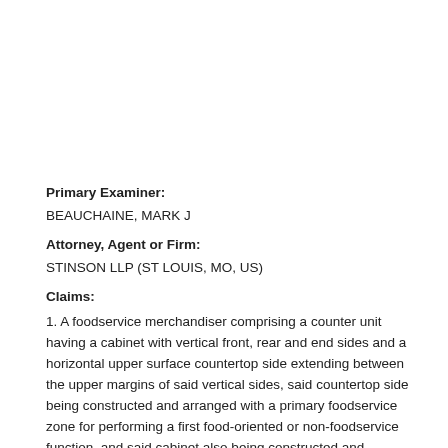Primary Examiner:
BEAUCHAINE, MARK J
Attorney, Agent or Firm:
STINSON LLP (ST LOUIS, MO, US)
Claims:
1. A foodservice merchandiser comprising a counter unit having a cabinet with vertical front, rear and end sides and a horizontal upper surface countertop side extending between the upper margins of said vertical sides, said countertop side being constructed and arranged with a primary foodservice zone for performing a first food-oriented or non-foodservice function, and said cabinet also being constructed and arranged with a